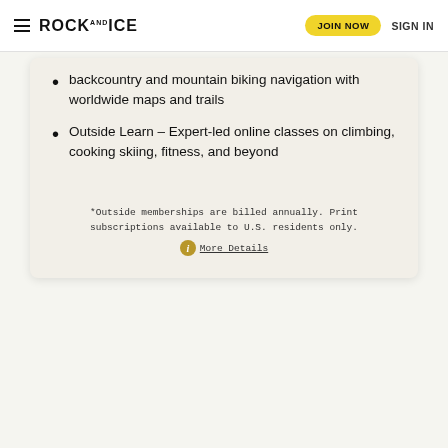ROCK AND ICE | JOIN NOW | SIGN IN
backcountry and mountain biking navigation with worldwide maps and trails
Outside Learn – Expert-led online classes on climbing, cooking skiing, fitness, and beyond
*Outside memberships are billed annually. Print subscriptions available to U.S. residents only.
 ℹ More Details